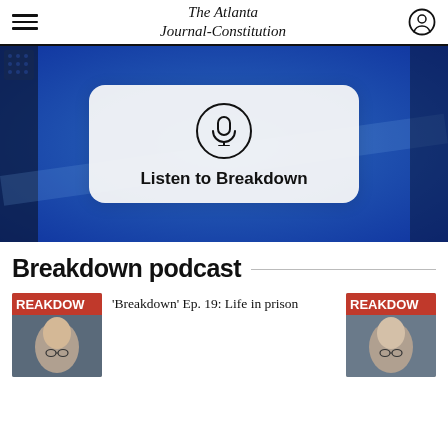The Atlanta Journal-Constitution
[Figure (screenshot): Blue broadcast studio background with a white rounded card overlay containing a microphone icon in a circle and the text 'Listen to Breakdown']
Breakdown podcast
[Figure (photo): Breakdown podcast cover showing a man with glasses, red banner with BREAKDOWN text]
'Breakdown' Ep. 19: Life in prison
[Figure (photo): Breakdown podcast cover showing a woman with glasses, red banner with BREAKDOWN text]